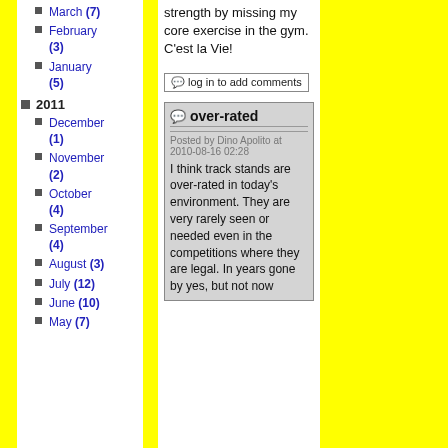strength by missing my core exercise in the gym.  C'est la Vie!
March (7)
February (3)
January (5)
2011
December (1)
November (2)
October (4)
September (4)
August (3)
July (12)
June (10)
May (7)
log in to add comments
over-rated
Posted by Dino Apolito at 2010-08-16 02:28
I think track stands are over-rated in today's environment. They are very rarely seen or needed even in the competitions where they are legal. In years gone by yes, but not now